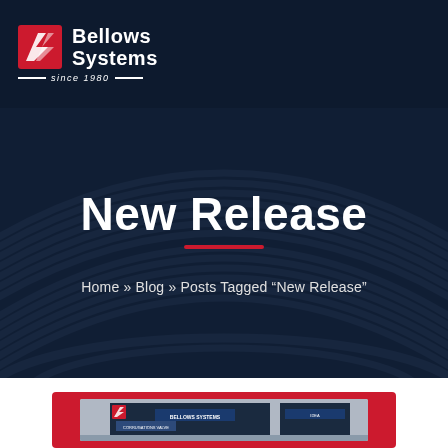Bellows Systems — since 1980
New Release
Home » Blog » Posts Tagged "New Release"
[Figure (photo): Bellows Systems trade show booth at an industrial exhibition, showing signage for 'Bellows Systems' and 'Corrugations Valve']